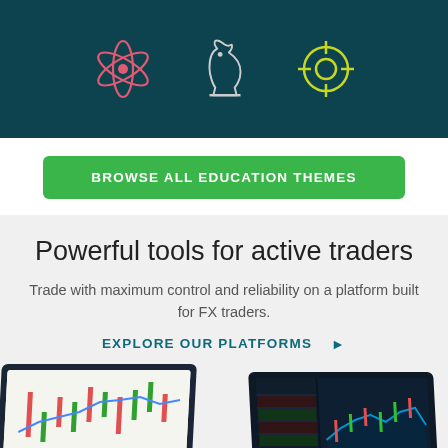[Figure (illustration): Dark teal banner with three icons: a pink atomic/react symbol on the left, a white chess knight in the center, and a yellow-green crosshair/target on the right]
BROWSE ALL EDUCATION THEMES
Powerful tools for active traders
Trade with maximum control and reliability on a platform built for FX traders.
EXPLORE OUR PLATFORMS ►
[Figure (screenshot): Two laptops showing trading platform charts with candlestick and line charts, one angled left and one angled right, on light gray background]